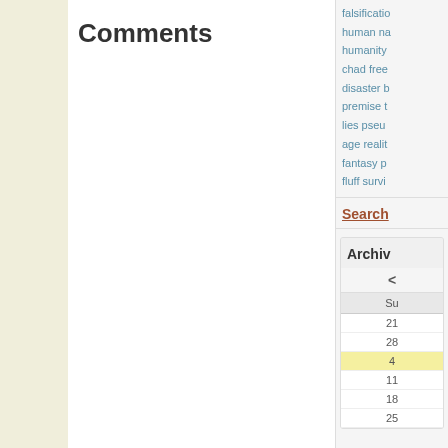Comments
falsification human nature humanity chad free disaster b premise t lies pseudo age reality fantasy p fluff survi
Search
Archives
| Su |
| --- |
| 21 |
| 28 |
| 4 |
| 11 |
| 18 |
| 25 |